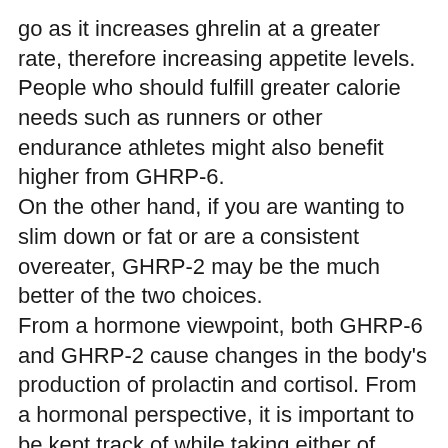go as it increases ghrelin at a greater rate, therefore increasing appetite levels. People who should fulfill greater calorie needs such as runners or other endurance athletes might also benefit higher from GHRP-6. On the other hand, if you are wanting to slim down or fat or are a consistent overeater, GHRP-2 may be the much better of the two choices. From a hormone viewpoint, both GHRP-6 and GHRP-2 cause changes in the body's production of prolactin and cortisol. From a hormonal perspective, it is important to be kept track of while taking either of these peptides. Ipamorelin (IPA) is also a synthetic peptide product that tends to be used solely for growth hormone (GH) release. It is obviously much greater of a go to due to the absence of side impacts, mainly on hormones. When combined with IGF, there is probably the highest anticipated boost in HGH. As a result, if you are going to utilize a research peptide to accomplish increased HGH release for the instant brief term, hexarelin may be your